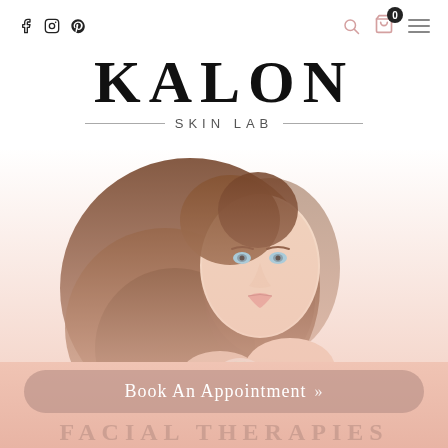f  ⊙  ⊕  🔍  🛒 0  ≡
KALON
SKIN LAB
[Figure (photo): Woman with long curly auburn hair holding a white flower/lily in her cupped hands, beauty/skincare promotional photo on white background]
Book An Appointment »
FACIAL THERAPIES